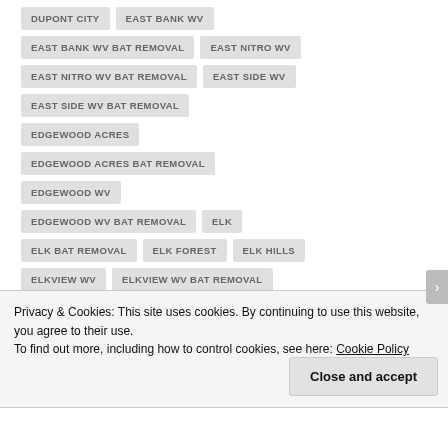DUPONT CITY
EAST BANK WV
EAST BANK WV BAT REMOVAL
EAST NITRO WV
EAST NITRO WV BAT REMOVAL
EAST SIDE WV
EAST SIDE WV BAT REMOVAL
EDGEWOOD ACRES
EDGEWOOD ACRES BAT REMOVAL
EDGEWOOD WV
EDGEWOOD WV BAT REMOVAL
ELK
ELK BAT REMOVAL
ELK FOREST
ELK HILLS
ELKVIEW WV
ELKVIEW WV BAT REMOVAL
EMMONS
ESKDALE
ETOWAH
Privacy & Cookies: This site uses cookies. By continuing to use this website, you agree to their use.
To find out more, including how to control cookies, see here: Cookie Policy
Close and accept